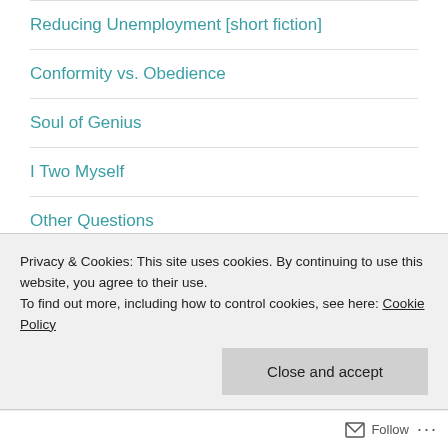Reducing Unemployment [short fiction]
Conformity vs. Obedience
Soul of Genius
I Two Myself
Other Questions
Seeing Seen Again
The Ontological Self
Privacy & Cookies: This site uses cookies. By continuing to use this website, you agree to their use.
To find out more, including how to control cookies, see here: Cookie Policy
Follow ...